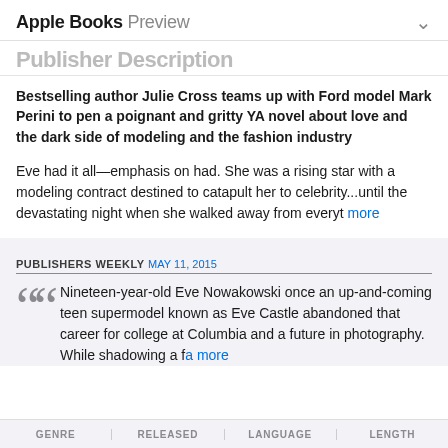Apple Books Preview
Publisher Description
Bestselling author Julie Cross teams up with Ford model Mark Perini to pen a poignant and gritty YA novel about love and the dark side of modeling and the fashion industry
Eve had it all—emphasis on had. She was a rising star with a modeling contract destined to catapult her to celebrity...until the devastating night when she walked away from everyth more
PUBLISHERS WEEKLY MAY 11, 2015
Nineteen-year-old Eve Nowakowski once an up-and-coming teen supermodel known as Eve Castle abandoned that career for college at Columbia and a future in photography. While shadowing a fa more
GENRE | RELEASED | LANGUAGE | LENGTH